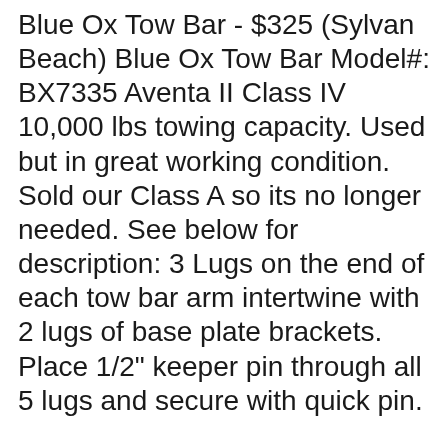Blue Ox Tow Bar - $325 (Sylvan Beach) Blue Ox Tow Bar Model#: BX7335 Aventa II Class IV 10,000 lbs towing capacity. Used but in great working condition. Sold our Class A so its no longer needed. See below for description: 3 Lugs on the end of each tow bar arm intertwine with 2 lugs of base plate brackets. Place 1/2" keeper pin through all 5 lugs and secure with quick pin.
BLUE OX BX7365 Tow Bar - Alpha. 1 Review . Price Price. Add to list . Add to registry Blue Ox BX2645 Vehicle Baseplate Removable Tabs; Single Lug; With Safety Cable Hooks; Requires Adapter Bracket Depending On